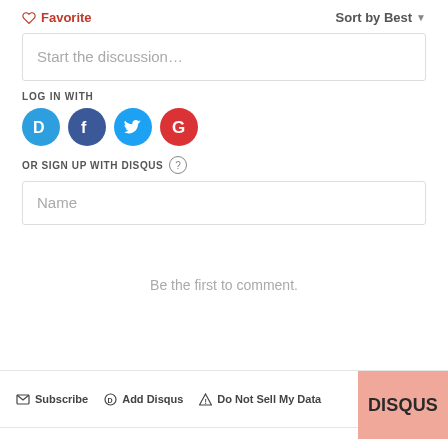♡ Favorite
Sort by Best ▼
Start the discussion…
LOG IN WITH
[Figure (illustration): Four social login icon circles: Disqus (blue), Facebook (dark blue), Twitter (light blue), Google (red)]
OR SIGN UP WITH DISQUS ?
Name
Be the first to comment.
✉ Subscribe   ⊙ Add Disqus   ⚠ Do Not Sell My Data   DISQUS